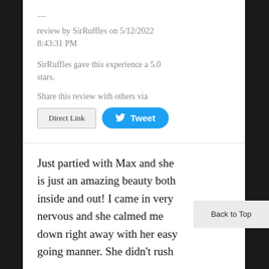—
review by SirRuffles on 5/12/2022 8:43:31 PM
SirRuffles gave this experience a 5.0 stars.
Share this review with others via
Direct Link
Tweet
Just partied with Max and she is just an amazing beauty both inside and out! I came in very nervous and she calmed me down right away with her easy going manner. She didn't rush
Back to Top